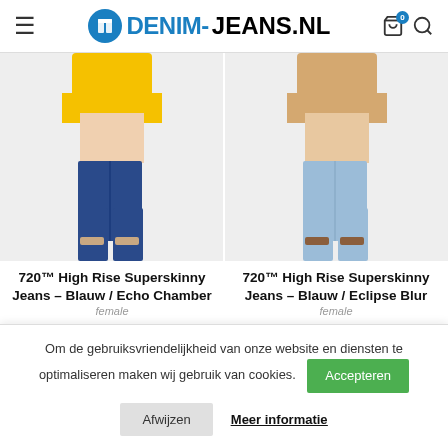DENIM-JEANS.NL
[Figure (photo): Model wearing dark blue skinny jeans with yellow top]
[Figure (photo): Model wearing light blue skinny jeans with beige top]
720™ High Rise Superskinny Jeans – Blauw / Echo Chamber
720™ High Rise Superskinny Jeans – Blauw / Eclipse Blur
Om de gebruiksvriendelijkheid van onze website en diensten te optimaliseren maken wij gebruik van cookies.
Afwijzen
Accepteren
Meer informatie